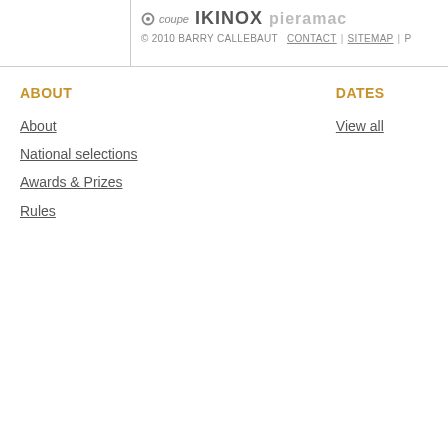[Figure (logo): Sponsor logos: r coupe, IKINOX, pieramac]
© 2010 BARRY CALLEBAUT  CONTACT | SITEMAP | P…
ABOUT
About
National selections
Awards & Prizes
Rules
DATES
View all